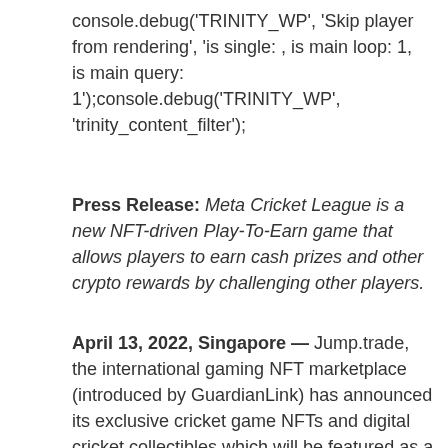console.debug('TRINITY_WP', 'Skip player from rendering', 'is single: , is main loop: 1, is main query: 1');console.debug('TRINITY_WP', 'trinity_content_filter');
Press Release: Meta Cricket League is a new NFT-driven Play-To-Earn game that allows players to earn cash prizes and other crypto rewards by challenging other players.
April 13, 2022, Singapore — Jump.trade, the international gaming NFT marketplace (introduced by GuardianLink) has announced its exclusive cricket game NFTs and digital cricket collectibles which will be featured as a part of its NFT cricket game 'Meta Cricket League (MCL)'.